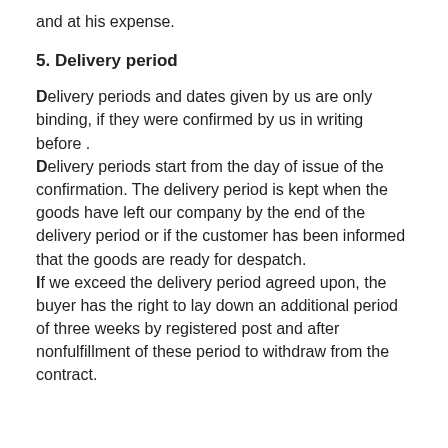and at his expense.
5. Delivery period
Delivery periods and dates given by us are only binding, if they were confirmed by us in writing before . Delivery periods start from the day of issue of the confirmation. The delivery period is kept when the goods have left our company by the end of the delivery period or if the customer has been informed that the goods are ready for despatch. If we exceed the delivery period agreed upon, the buyer has the right to lay down an additional period of three weeks by registered post and after nonfulfillment of these period to withdraw from the contract.